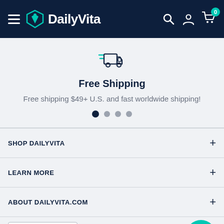DailyVita navigation bar with hamburger menu, logo, search, account, and cart icons
Free Shipping
Free shipping $49+ U.S. and fast worldwide shipping!
SHOP DAILYVITA
LEARN MORE
ABOUT DAILYVITA.COM
[Figure (logo): TrustedSite Certified Secure badge]